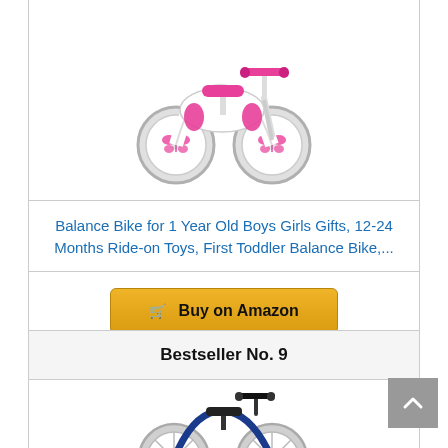[Figure (photo): Pink balance bike / ride-on toy for toddlers, with butterfly decorations on wheels, pink handles and seat, white frame, four wheels]
Balance Bike for 1 Year Old Boys Girls Gifts, 12-24 Months Ride-on Toys, First Toddler Balance Bike,...
Buy on Amazon
Bestseller No. 9
[Figure (photo): Blue balance bike for toddlers, partially visible at bottom of page]